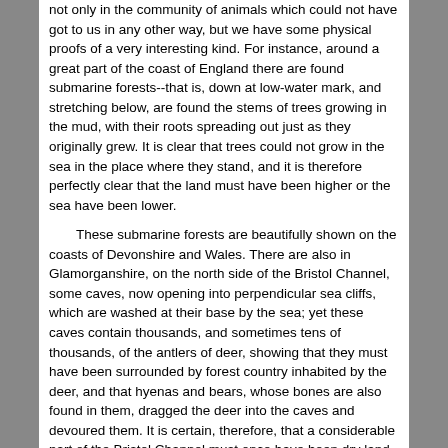not only in the community of animals which could not have got to us in any other way, but we have some physical proofs of a very interesting kind. For instance, around a great part of the coast of England there are found submarine forests--that is, down at low-water mark, and stretching below, are found the stems of trees growing in the mud, with their roots spreading out just as they originally grew. It is clear that trees could not grow in the sea in the place where they stand, and it is therefore perfectly clear that the land must have been higher or the sea have been lower.
These submarine forests are beautifully shown on the coasts of Devonshire and Wales. There are also in Glamorganshire, on the north side of the Bristol Channel, some caves, now opening into perpendicular sea cliffs, which are washed at their base by the sea; yet these caves contain thousands, and sometimes tens of thousands, of the antlers of deer, showing that they must have been surrounded by forest country inhabited by the deer, and that hyenas and bears, whose bones are also found in them, dragged the deer into the caves and devoured them. It is certain, therefore, that a considerable part of the Bristol Channel must once have been dry land